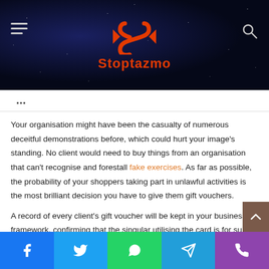[Figure (logo): Stoptazmo website logo — red S-shaped icon and red 'Stoptazmo' text on dark starfield background with hamburger menu and search icon]
...
Your organisation might have been the casualty of numerous deceitful demonstrations before, which could hurt your image's standing. No client would need to buy things from an organisation that can't recognise and forestall fake exercises. As far as possible, the probability of your shoppers taking part in unlawful activities is the most brilliant decision you have to give them gift vouchers.
A record of every client's gift voucher will be kept in your business' framework, confirming that the singular utilising the card is for sure the card's authentic proprietor. When your organisation…